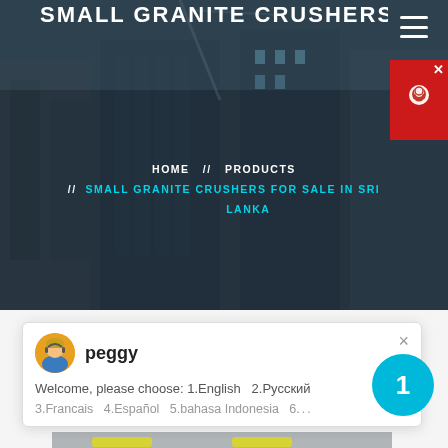SMALL GRANITE CRUSHERS FOR SALE IN SRI LANKA
HOME // PRODUCTS // SMALL GRANITE CRUSHERS FOR SALE IN SRI LANKA
[Figure (screenshot): Chat popup with avatar of 'peggy', message: 'Welcome, please choose: 1.English 2.Русский 3.Francais 4.Español 5.bahasa Indonesia 6...']
[Figure (photo): Industrial granite crusher machine in a factory setting, gray metal equipment with conveyors]